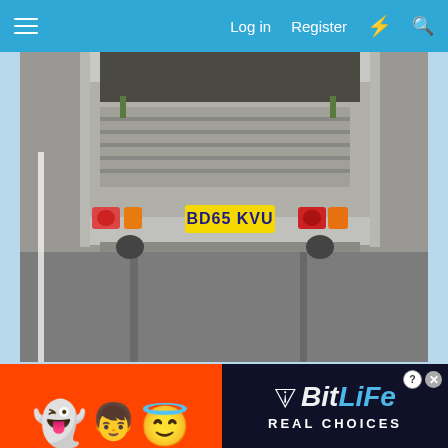≡  Log in  Register  ⚡  🔍
[Figure (photo): Rear view of a flatbed trailer with UK license plate BD65 KVU on a road, showing tire marks on the asphalt. The trailer has red and orange tail lights on both sides.]
[Figure (infographic): BitLife advertisement banner with emojis (devil, woman, angel face) and the BitLife logo with tagline REAL CHOICES on a dark background with red border.]